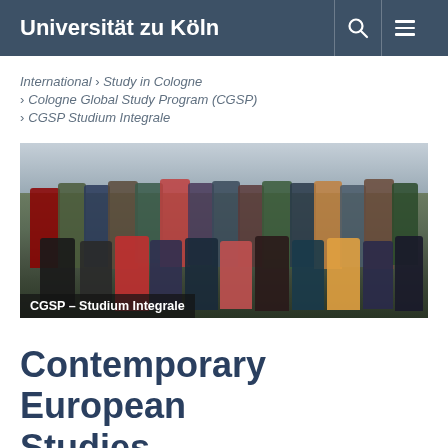Universität zu Köln
International › Study in Cologne › Cologne Global Study Program (CGSP) › CGSP Studium Integrale
[Figure (photo): Group photo of students outdoors with caption 'CGSP – Studium Integrale']
CGSP – Studium Integrale
Contemporary European Studies
Within the iStudi...